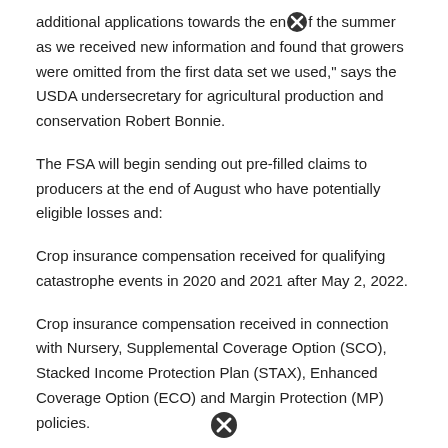additional applications towards the end of the summer as we received new information and found that growers were omitted from the first data set we used," says the USDA undersecretary for agricultural production and conservation Robert Bonnie.
The FSA will begin sending out pre-filled claims to producers at the end of August who have potentially eligible losses and:
Crop insurance compensation received for qualifying catastrophe events in 2020 and 2021 after May 2, 2022.
Crop insurance compensation received in connection with Nursery, Supplemental Coverage Option (SCO), Stacked Income Protection Plan (STAX), Enhanced Coverage Option (ECO) and Margin Protection (MP) policies.
New principal policyholders who were not included in the first insured producer's Phase 1 mailing of May 25, 2022 because their claim records had not been completed.